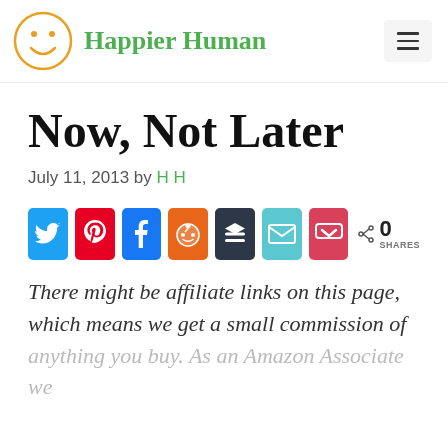Happier Human
Now, Not Later
July 11, 2013 by H H
[Figure (infographic): Social share buttons row: Twitter, Pinterest, Facebook, Reddit, Buffer, Email, Pocket, with share count showing 0 SHARES]
There might be affiliate links on this page, which means we get a small commission of anything you buy. As an Amazon Associate we